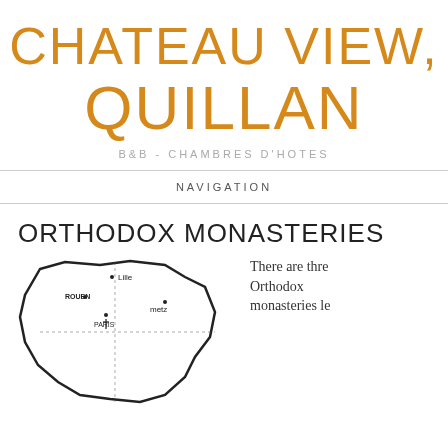CHATEAU VIEW, QUILLAN
B&B - CHAMBRES D'HOTES
NAVIGATION
ORTHODOX MONASTERIES
[Figure (map): Outline map of France with city labels including Lille, Rouen, Paris, Metz]
There are thre Orthodox monasteries le